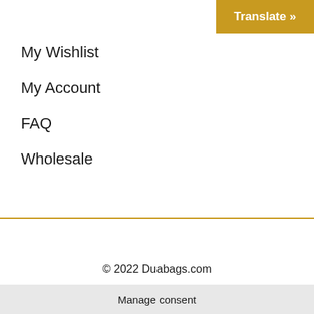Translate »
My Wishlist
My Account
FAQ
Wholesale
© 2022 Duabags.com
Manage consent